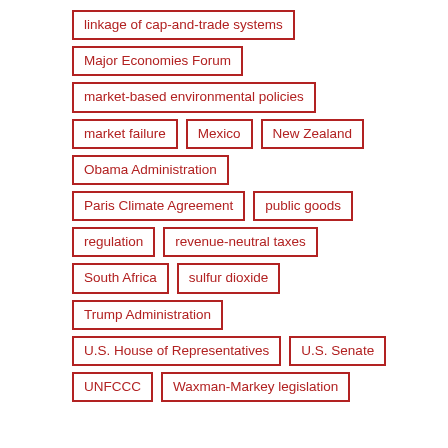linkage of cap-and-trade systems
Major Economies Forum
market-based environmental policies
market failure
Mexico
New Zealand
Obama Administration
Paris Climate Agreement
public goods
regulation
revenue-neutral taxes
South Africa
sulfur dioxide
Trump Administration
U.S. House of Representatives
U.S. Senate
UNFCCC
Waxman-Markey legislation